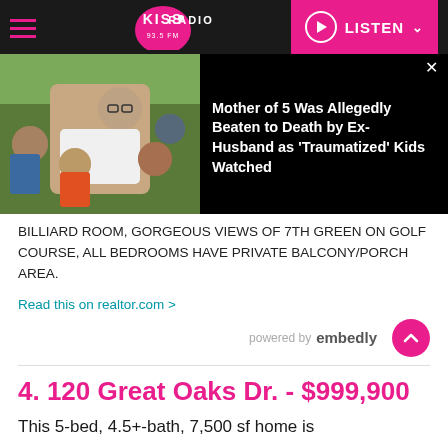KISS RADIO 93.5 FM — LISTEN
[Figure (screenshot): News overlay banner: photo of woman with 5 children (faces blurred), headline: Mother of 5 Was Allegedly Beaten to Death by Ex-Husband as 'Traumatized' Kids Watched]
BILLIARD ROOM, GORGEOUS VIEWS OF 7TH GREEN ON GOLF COURSE, ALL BEDROOMS HAVE PRIVATE BALCONY/PORCH AREA.
Read this on realtor.com >
powered by embedly
4. 120 Great Oaks Dr. - $999,900
This 5-bed, 4.5+-bath, 7,500 sf home is currently listed at $999,900 with Coldwell...